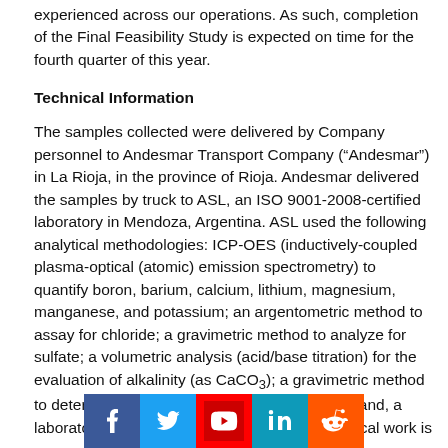experienced across our operations. As such, completion of the Final Feasibility Study is expected on time for the fourth quarter of this year.
Technical Information
The samples collected were delivered by Company personnel to Andesmar Transport Company (“Andesmar”) in La Rioja, in the province of Rioja. Andesmar delivered the samples by truck to ASL, an ISO 9001-2008-certified laboratory in Mendoza, Argentina. ASL used the following analytical methodologies: ICP-OES (inductively-coupled plasma-optical (atomic) emission spectrometry) to quantify boron, barium, calcium, lithium, magnesium, manganese, and potassium; an argentometric method to assay for chloride; a gravimetric method to analyze for sulfate; a volumetric analysis (acid/base titration) for the evaluation of alkalinity (as CaCO3); a gravimetric method to determine density and total dissolved solids; and, a laboratory pH meter to determine pH. All analytical work is
[Figure (infographic): Social media sharing buttons: Facebook (blue), Twitter (light blue), YouTube (red), LinkedIn (teal/blue), Reddit (orange)]